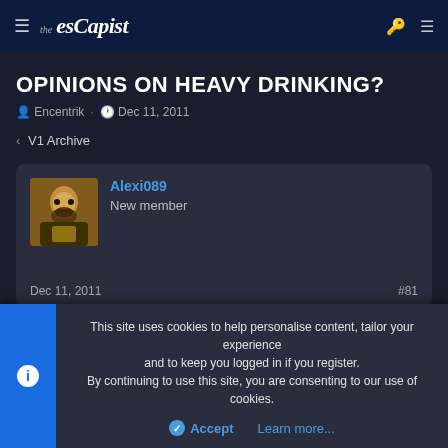the escapist
OPINIONS ON HEAVY DRINKING?
Encentrik · Dec 11, 2011
< V1 Archive
Alexi089
New member
Dec 11, 2011  #81
This site uses cookies to help personalise content, tailor your experience and to keep you logged in if you register.
By continuing to use this site, you are consenting to our use of cookies.
Accept  Learn more...